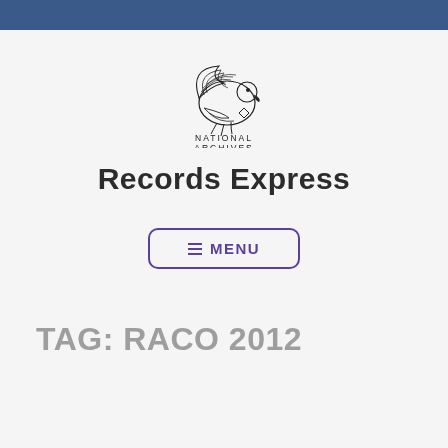[Figure (logo): National Archives eagle logo with text 'NATIONAL ARCHIVES' below]
Records Express
≡ MENU
TAG: RACO 2012